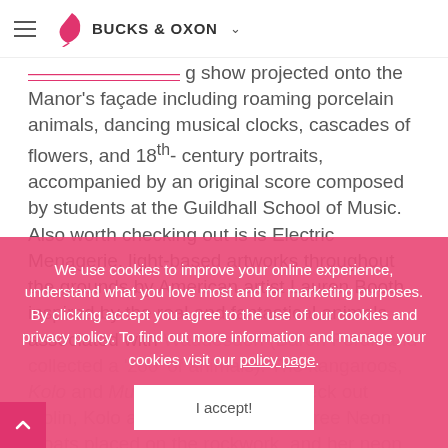BUCKS & OXON
show projected onto the Manor's façade including roaming porcelain animals, dancing musical clocks, cascades of flowers, and 18th-century portraits, accompanied by an original score composed by students at the Guildhall School of Music. Also worth checking out is is Electric Menagerie, light-based artworks throughout the grounds by American artist Lauren Booth, inspired by the real and fantastical animals associated with Waddesdon (Baron Ferdinand collected a 'zoo' of animals). Check out Golin, Kolo and Murphy kangaroos). Check out Golin, Kolo and Murphy (2017), three Neon Goats placed on the rockwork, and her neon Parrots Blessing, Heart Dove and
We use cookies to improve your online experience, understand what you love most and for marketing purposes. By clicking accept you agree to the use of our cookies and privacy policy. To find out more information and manage your cookies visit our policy page.
I accept!